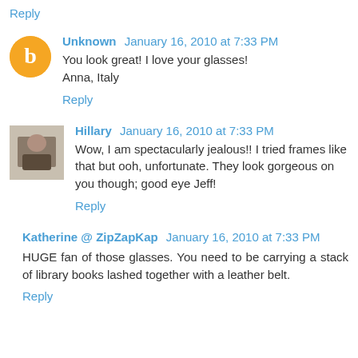Reply
Unknown  January 16, 2010 at 7:33 PM
You look great! I love your glasses!
Anna, Italy
Reply
Hillary  January 16, 2010 at 7:33 PM
Wow, I am spectacularly jealous!! I tried frames like that but ooh, unfortunate. They look gorgeous on you though; good eye Jeff!
Reply
Katherine @ ZipZapKap  January 16, 2010 at 7:33 PM
HUGE fan of those glasses. You need to be carrying a stack of library books lashed together with a leather belt.
Reply